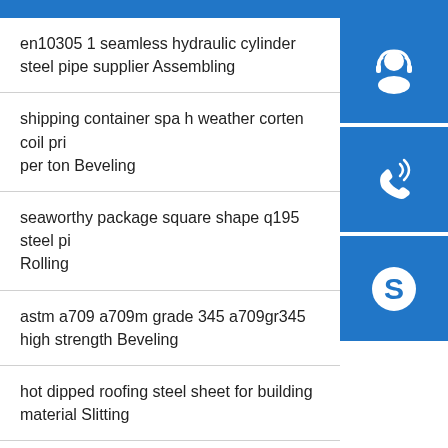en10305 1 seamless hydraulic cylinder steel pipe supplier Assembling
shipping container spa h weather corten coil price per ton Beveling
seaworthy package square shape q195 steel pipe Rolling
astm a709 a709m grade 345 a709gr345 high strength Beveling
hot dipped roofing steel sheet for building material Slitting
welded 201 202 304l 316 316l stainless steel pipe price Hole drilling
[Figure (illustration): Three blue icon buttons on right sidebar: customer service headset icon, phone/call icon, and Skype icon]